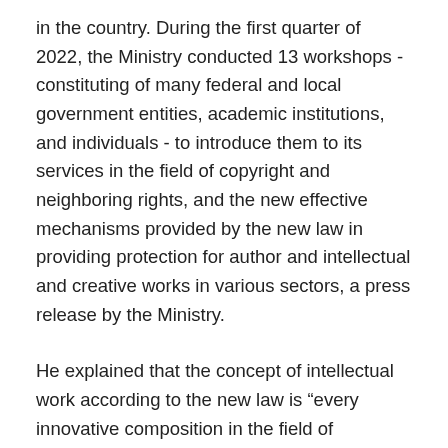in the country. During the first quarter of 2022, the Ministry conducted 13 workshops - constituting of many federal and local government entities, academic institutions, and individuals - to introduce them to its services in the field of copyright and neighboring rights, and the new effective mechanisms provided by the new law in providing protection for author and intellectual and creative works in various sectors, a press release by the Ministry.
He explained that the concept of intellectual work according to the new law is “every innovative composition in the field of literature, arts or sciences of any kind, method of expression, importance, or purpose”. He pointed out that the most prominent examples of which are the written works such as books, brochures, articles, computer programs, smart applications, programming scripts,